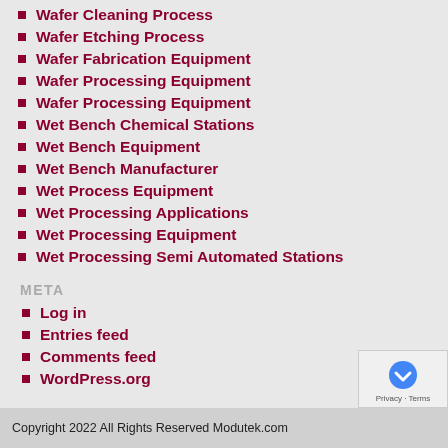Wafer Cleaning Process
Wafer Etching Process
Wafer Fabrication Equipment
Wafer Processing Equipment
Wafer Processing Equipment
Wet Bench Chemical Stations
Wet Bench Equipment
Wet Bench Manufacturer
Wet Process Equipment
Wet Processing Applications
Wet Processing Equipment
Wet Processing Semi Automated Stations
META
Log in
Entries feed
Comments feed
WordPress.org
Copyright 2022 All Rights Reserved Modutek.com